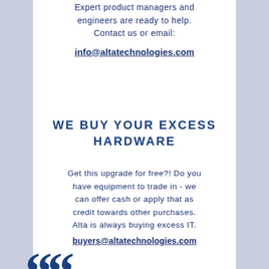Expert product managers and engineers are ready to help. Contact us or email:
info@altatechnologies.com
WE BUY YOUR EXCESS HARDWARE
Get this upgrade for free?! Do you have equipment to trade in - we can offer cash or apply that as credit towards other purchases. Alta is always buying excess IT.
buyers@altatechnologies.com